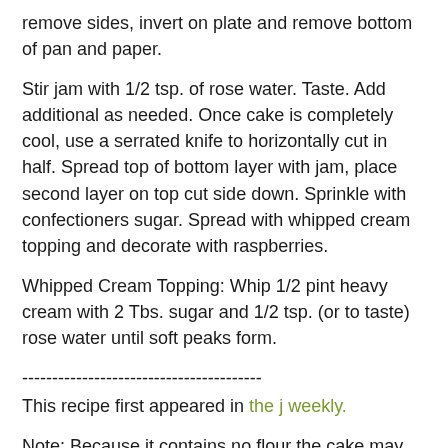remove sides, invert on plate and remove bottom of pan and paper.
Stir jam with 1/2 tsp. of rose water. Taste. Add additional as needed. Once cake is completely cool, use a serrated knife to horizontally cut in half. Spread top of bottom layer with jam, place second layer on top cut side down. Sprinkle with confectioners sugar. Spread with whipped cream topping and decorate with raspberries.
Whipped Cream Topping: Whip 1/2 pint heavy cream with 2 Tbs. sugar and 1/2 tsp. (or to taste) rose water until soft peaks form.
----------------------------------------
This recipe first appeared in the j weekly.
Note: Because it contains no flour the cake may be suitable for Passover if you leave out the confectioners sugar and use products verified for Passover use.